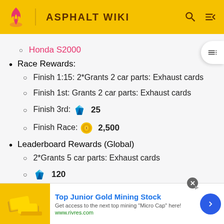ASPHALT WIKI
Honda S2000
Race Rewards:
Finish 1:15: 2*Grants 2 car parts: Exhaust cards
Finish 1st: Grants 2 car parts: Exhaust cards
Finish 3rd: 25
Finish Race: 2,500
Leaderboard Rewards (Global)
2*Grants 5 car parts: Exhaust cards
120
2*Grants 4 car parts: Exhaust cards
3*Tuning Kit